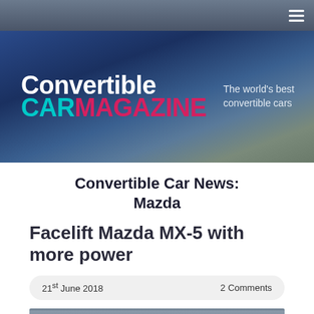Convertible Car Magazine — The world's best convertible cars
Convertible Car News: Mazda
Facelift Mazda MX-5 with more power
21st June 2018   2 Comments
[Figure (photo): Mazda MX-5 convertible on a mountain road]